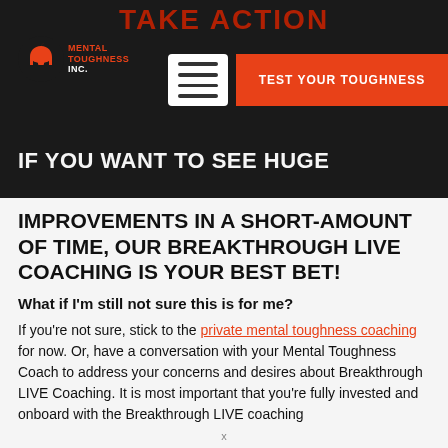TAKE ACTION
[Figure (logo): Mental Toughness Inc. logo with helmet icon]
TEST YOUR TOUGHNESS
IF YOU WANT TO SEE HUGE IMPROVEMENTS IN A SHORT-AMOUNT OF TIME, OUR BREAKTHROUGH LIVE COACHING IS YOUR BEST BET!
What if I'm still not sure this is for me?
If you're not sure, stick to the private mental toughness coaching for now. Or, have a conversation with your Mental Toughness Coach to address your concerns and desires about Breakthrough LIVE Coaching. It is most important that you're fully invested and onboard with the Breakthrough LIVE coaching for it to be fully effective on/and...
x